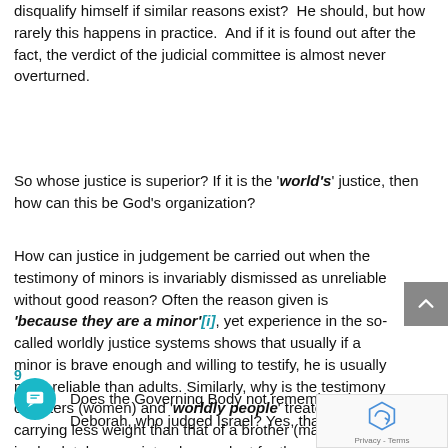disqualify himself if similar reasons exist? He should, but how rarely this happens in practice. And if it is found out after the fact, the verdict of the judicial committee is almost never overturned.
So whose justice is superior? If it is the 'world's' justice, then how can this be God's organization?
How can justice in judgement be carried out when the testimony of minors is invariably dismissed as unreliable without good reason? Often the reason given is 'because they are a minor'[i], yet experience in the so-called worldly justice systems shows that usually if a minor is brave enough and willing to testify, he is usually more reliable than adults. Similarly, why is the testimony of sisters (women) and 'worldly people' treated as carrying less weight than that of a brother (man). There is absolutely no scriptural precedent for these views.
Does the Governing Body not remember the case Deborah, who judged Israel? Yes, that's right, she